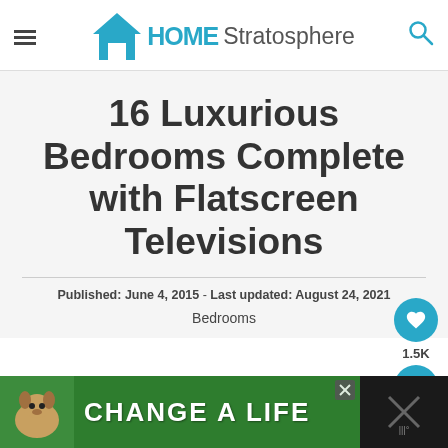HOME Stratosphere
16 Luxurious Bedrooms Complete with Flatscreen Televisions
Published: June 4, 2015 - Last updated: August 24, 2021
Bedrooms
[Figure (infographic): Green advertisement banner reading CHANGE A LIFE with a dog image on the left and a dark panel on the right]
[Figure (logo): Home Stratosphere logo with house icon and text]